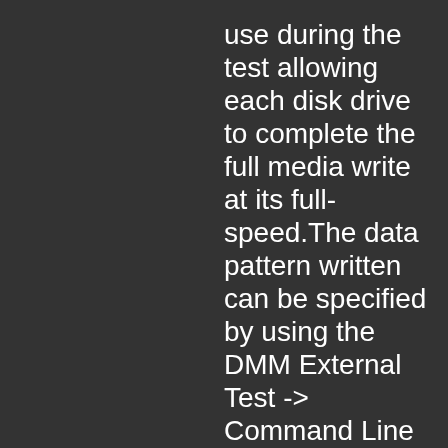use during the test allowing each disk drive to complete the full media write at its full-speed.The data pattern written can be specified by using the DMM External Test -> Command Line Parameters window to enter the desired data pattern. Available data patterns are: